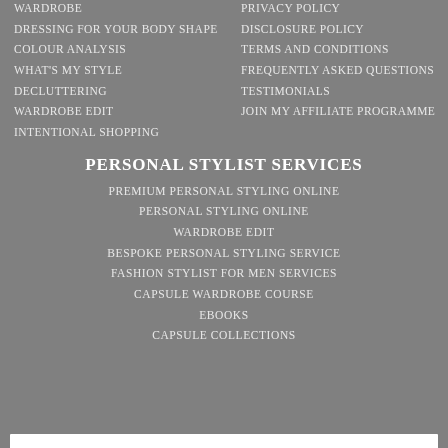WARDROBE
DRESSING FOR YOUR BODY SHAPE
COLOUR ANALYSIS
WHAT'S MY STYLE
DECLUTTERING
WARDROBE EDIT
INTENTIONAL SHOPPING
PRIVACY POLICY
DISCLOSURE POLICY
TERMS AND CONDITIONS
FREQUENTLY ASKED QUESTIONS
TESTIMONIALS
JOIN MY AFFILIATE PROGRAMME
PERSONAL STYLIST SERVICES
PREMIUM PERSONAL STYLING ONLINE
PERSONAL STYLING ONLINE
WARDROBE EDIT
BESPOKE PERSONAL STYLING SERVICE
FASHION STYLIST FOR MEN SERVICES
CAPSULE WARDROBE COURSE
EBOOKS
CAPSULE COLLECTIONS